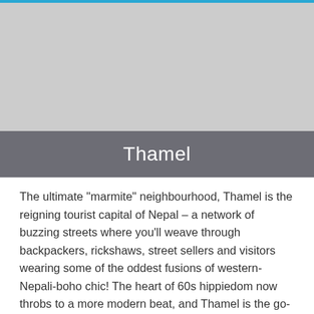[Figure (photo): Photograph of Thamel neighbourhood in Kathmandu, Nepal — shown as a grey placeholder image area at the top of the page.]
Thamel
The ultimate "marmite" neighbourhood, Thamel is the reigning tourist capital of Nepal – a network of buzzing streets where you'll weave through backpackers, rickshaws, street sellers and visitors wearing some of the oddest fusions of western-Nepali-boho chic! The heart of 60s hippiedom now throbs to a more modern beat, and Thamel is the go-to place for bars, restaurants and clubbing, as well as many of Kathmandu's most luxurious hotels. For the early birds (or bleary-eyed morning-after revellers), it's also Kathmandu's